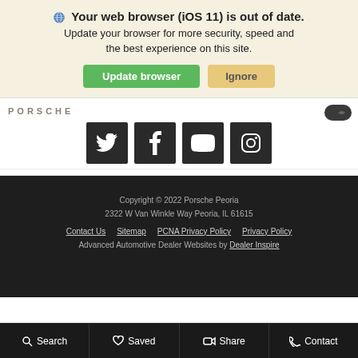Your web browser (iOS 11) is out of date. Update your browser for more security, speed and the best experience on this site. [Update browser] [Ignore]
[Figure (logo): Porsche logo text]
[Figure (infographic): Social media icons: Twitter, Facebook, YouTube, Instagram on dark square backgrounds]
Copyright © 2022 Porsche Peoria
2322 W Van Winkle Way Peoria, IL 61615
Contact Us   Sitemap   PCNA Privacy Policy   Privacy Policy
Advanced Automotive Dealer Websites by Dealer Inspire
Search   Saved   Share   Contact